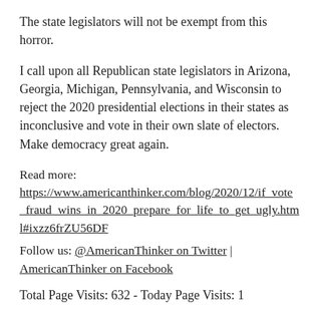The state legislators will not be exempt from this horror.
I call upon all Republican state legislators in Arizona, Georgia, Michigan, Pennsylvania, and Wisconsin to reject the 2020 presidential elections in their states as inconclusive and vote in their own slate of electors.  Make democracy great again.
Read more: https://www.americanthinker.com/blog/2020/12/if_vote_fraud_wins_in_2020_prepare_for_life_to_get_ugly.html#ixzz6frZU56DF
Follow us: @AmericanThinker on Twitter | AmericanThinker on Facebook
Total Page Visits: 632 - Today Page Visits: 1
Leave a Reply